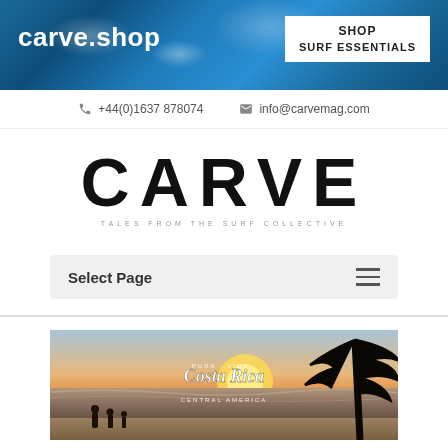carve.shop
SHOP SURF ESSENTIALS
+44(0)1637 878074   info@carvemag.com
CARVE
TALES FROM THE SURF COLLECTIVE
Select Page
[Figure (photo): Beach sunset scene in Costa Rica, Central America, with silhouettes of people on the beach and a tree on the right. Overlay text reads 'Costa Rica Central America'.]